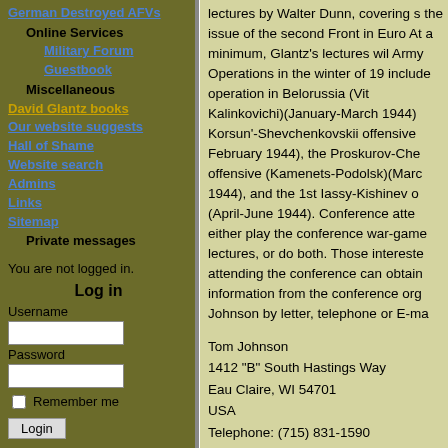German Destroyed AFVs
Online Services
Military Forum
Guestbook
Miscellaneous
David Glantz books
Our website suggests
Hall of Shame
Website search
Admins
Links
Sitemap
Private messages
You are not logged in.
Log in
Username
Password
Remember me
Login
lectures by Walter Dunn, covering s the issue of the second Front in Euro At a minimum, Glantz's lectures wi Army Operations in the winter of 19 include operation in Belorussia (Vit Kalinkovichi)(January-March 1944) Korsun'-Shevchenkovskii offensive February 1944), the Proskurov-Che offensive (Kamenets-Podolsk)(Marc 1944), and the 1st Iassy-Kishinev o (April-June 1944). Conference atte either play the conference war-game lectures, or do both. Those intereste attending the conference can obtain information from the conference org Johnson by letter, telephone or E-ma
Tom Johnson
1412 "B" South Hastings Way
Eau Claire, WI 54701
USA
Telephone: (715) 831-1590
FAX; (715) 831-1591
E-mail: tangoj@mastereuropa.com